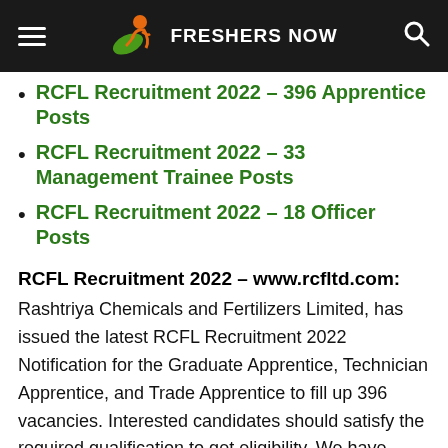FRESHERS NOW
RCFL Recruitment 2022 – 396 Apprentice Posts
RCFL Recruitment 2022 – 33 Management Trainee Posts
RCFL Recruitment 2022 – 18 Officer Posts
RCFL Recruitment 2022 – www.rcfltd.com:
Rashtriya Chemicals and Fertilizers Limited, has issued the latest RCFL Recruitment 2022 Notification for the Graduate Apprentice, Technician Apprentice, and Trade Apprentice to fill up 396 vacancies. Interested candidates should satisfy the required qualification to get eligibility. We have given complete details of RCFL Recruitment 2022 in the below